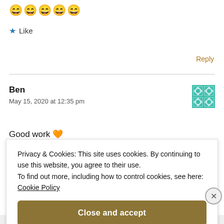[Figure (illustration): Five golden emoji-style face/star icons in a row]
★ Like
Reply
Ben
May 15, 2020 at 12:35 pm
[Figure (illustration): Teal/green geometric quilt-pattern avatar icon]
Good work 🧡
Privacy & Cookies: This site uses cookies. By continuing to use this website, you agree to their use.
To find out more, including how to control cookies, see here:
Cookie Policy
Close and accept